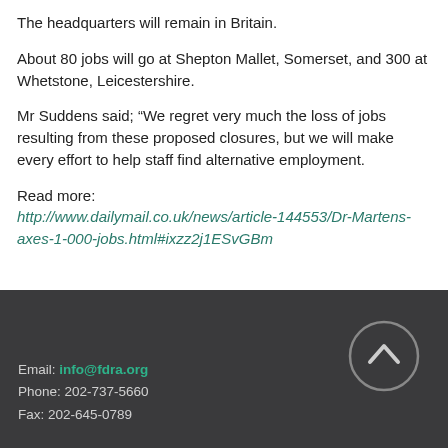The headquarters will remain in Britain.
About 80 jobs will go at Shepton Mallet, Somerset, and 300 at Whetstone, Leicestershire.
Mr Suddens said; “We regret very much the loss of jobs resulting from these proposed closures, but we will make every effort to help staff find alternative employment.
Read more: http://www.dailymail.co.uk/news/article-144553/Dr-Martens-axes-1-000-jobs.html#ixzz2j1ESvGBm
Email: info@fdra.org
Phone: 202-737-5660
Fax: 202-645-0789